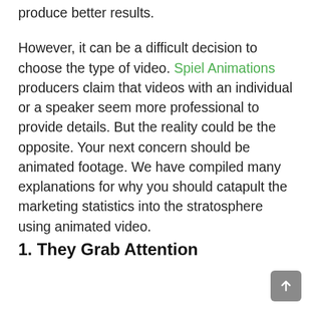produce better results.
However, it can be a difficult decision to choose the type of video. Spiel Animations producers claim that videos with an individual or a speaker seem more professional to provide details. But the reality could be the opposite. Your next concern should be animated footage. We have compiled many explanations for why you should catapult the marketing statistics into the stratosphere using animated video.
1. They Grab Attention